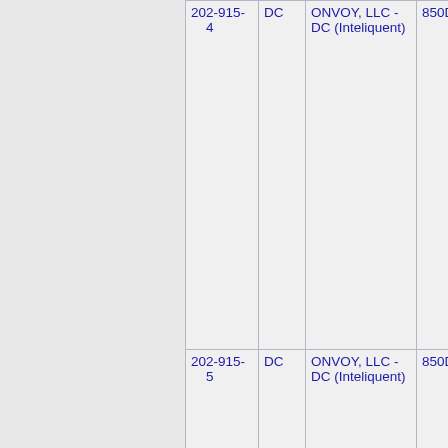| Phone | State | Carrier | Address | City |
| --- | --- | --- | --- | --- |
| 202-915-4 | DC | ONVOY, LLC - DC (Inteliquent) | 850D | WSHNGTM |
| 202-915-5 | DC | ONVOY, LLC - DC (Inteliquent) | 850D | WSHNGTM |